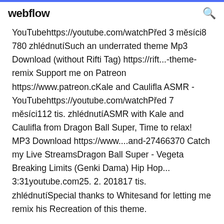webflow
YouTubehttps://youtube.com/watchPřed 3 měsíci8 780 zhlédnutíSuch an underrated theme Mp3 Download (without Rifti Tag) https://rift...-theme-remix Support me on Patreon https://www.patreon.cKale and Caulifla ASMR - YouTubehttps://youtube.com/watchPřed 7 měsíci112 tis. zhlédnutíASMR with Kale and Caulifla from Dragon Ball Super, Time to relax! MP3 Download https://www....and-27466370 Catch my Live StreamsDragon Ball Super - Vegeta Breaking Limits (Genki Dama) Hip Hop... 3:31youtube.com25. 2. 201817 tis. zhlédnutíSpecial thanks to Whitesand for letting me remix his Recreation of this theme.